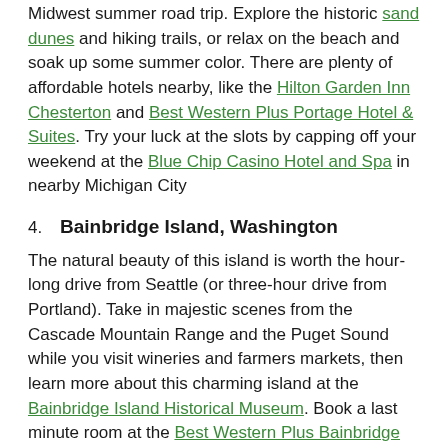Midwest summer road trip. Explore the historic sand dunes and hiking trails, or relax on the beach and soak up some summer color. There are plenty of affordable hotels nearby, like the Hilton Garden Inn Chesterton and Best Western Plus Portage Hotel & Suites. Try your luck at the slots by capping off your weekend at the Blue Chip Casino Hotel and Spa in nearby Michigan City
4. Bainbridge Island, Washington
The natural beauty of this island is worth the hour-long drive from Seattle (or three-hour drive from Portland). Take in majestic scenes from the Cascade Mountain Range and the Puget Sound while you visit wineries and farmers markets, then learn more about this charming island at the Bainbridge Island Historical Museum. Book a last minute room at the Best Western Plus Bainbridge Island Suites or bring the pup and check in to the pet-friendly Island Country Inn, complete with pool and complimentary breakfast.